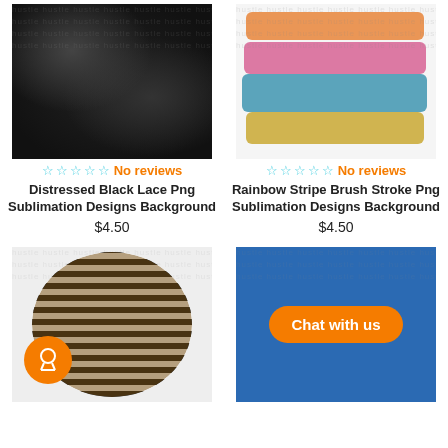[Figure (illustration): Distressed black lace pattern on dark background with watermark overlay]
[Figure (illustration): Rainbow stripe brush stroke with horizontal bands of orange, pink, teal, and yellow on light background with watermark overlay]
No reviews
No reviews
Distressed Black Lace Png Sublimation Designs Background
$4.50
Rainbow Stripe Brush Stroke Png Sublimation Designs Background
$4.50
[Figure (illustration): Circular crop of leopard/cheetah print on black and white stripes background with orange award badge in lower left]
[Figure (illustration): Blue distressed texture background with orange Chat with us button overlay]